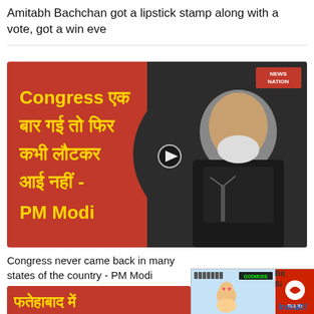Amitabh Bachchan got a lipstick stamp along with a vote, got a win eve
[Figure (screenshot): News Nation video thumbnail with red background showing Hindi text in yellow: Congress एक बार गई तो फिर कभी लौटकर आई नहीं - PM Modi, with a photo of PM Modi speaking at a podium on the right side]
Congress never came back in many states of the country - PM Modi
[Figure (screenshot): Partial bottom card with red background showing Hindi text in yellow: फतेहाबाद में]
[Figure (screenshot): Advertisement for BitLife game showing animated baby character with God Mode label and Install button]